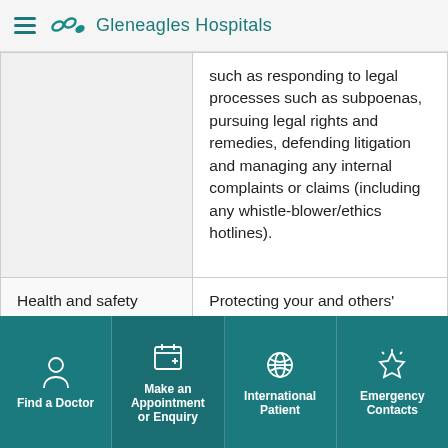Gleneagles Hospitals
| Category | Description |
| --- | --- |
|  | such as responding to legal processes such as subpoenas, pursuing legal rights and remedies, defending litigation and managing any internal complaints or claims (including any whistle-blower/ethics hotlines). |
| Health and safety | Protecting your and others' health and safety, |
Find a Doctor | Make an Appointment or Enquiry | International Patient | Emergency Contacts